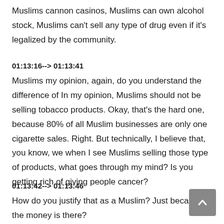Muslims cannon casinos, Muslims can own alcohol stock, Muslims can't sell any type of drug even if it's legalized by the community.
01:13:16--> 01:13:41
Muslims my opinion, again, do you understand the difference of In my opinion, Muslims should not be selling tobacco products. Okay, that's the hard one, because 80% of all Muslim businesses are only one cigarette sales. Right. But technically, I believe that, you know, we when I see Muslims selling those type of products, what goes through my mind? Is you getting rich of giving people cancer?
01:13:42--> 01:13:46
How do you justify that as a Muslim? Just because the money is there?